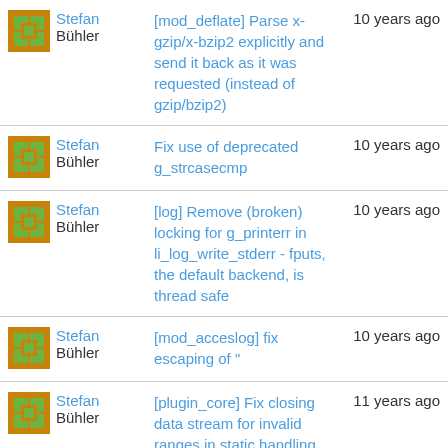| Author | Commit Message | Time |
| --- | --- | --- |
| Stefan Bühler | [mod_deflate] Parse x-gzip/x-bzip2 explicitly and send it back as it was requested (instead of gzip/bzip2) | 10 years ago |
| Stefan Bühler | Fix use of deprecated g_strcasecmp | 10 years ago |
| Stefan Bühler | [log] Remove (broken) locking for g_printerr in li_log_write_stderr - fputs, the default backend, is thread safe | 10 years ago |
| Stefan Bühler | [mod_acceslog] fix escaping of " | 10 years ago |
| Stefan Bühler | [plugin_core] Fix closing data stream for invalid ranges in static handling | 11 years ago |